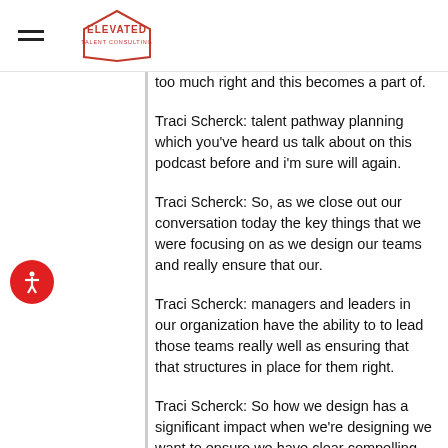Elevated Talent Consulting
too much right and this becomes a part of.
Traci Scherck: talent pathway planning which you've heard us talk about on this podcast before and i'm sure will again.
Traci Scherck: So, as we close out our conversation today the key things that we were focusing on as we design our teams and really ensure that our.
Traci Scherck: managers and leaders in our organization have the ability to to lead those teams really well as ensuring that that structures in place for them right.
Traci Scherck: So how we design has a significant impact when we're designing we want to ensure we have clear compelling